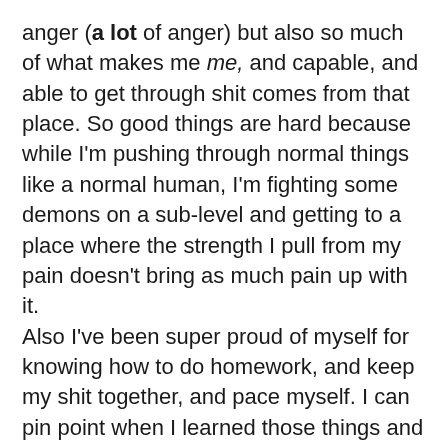anger (a lot of anger) but also so much of what makes me me, and capable, and able to get through shit comes from that place. So good things are hard because while I'm pushing through normal things like a normal human, I'm fighting some demons on a sub-level and getting to a place where the strength I pull from my pain doesn't bring as much pain up with it.
Also I've been super proud of myself for knowing how to do homework, and keep my shit together, and pace myself. I can pin point when I learned those things and it pulls up a lot of pain with it, even though it's good.
For roughly a semester I participated in my homeschool group's co/op day where we took over a church and operated kinda similarly to a school. Some teachers there were incredible.